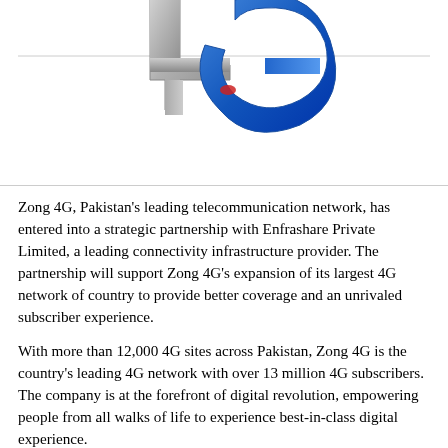[Figure (logo): 3D metallic and blue '4G' logo graphic for Zong 4G telecommunications, partially cropped at top]
Zong 4G, Pakistan's leading telecommunication network, has entered into a strategic partnership with Enfrashare Private Limited, a leading connectivity infrastructure provider. The partnership will support Zong 4G's expansion of its largest 4G network of country to provide better coverage and an unrivaled subscriber experience.
With more than 12,000 4G sites across Pakistan, Zong 4G is the country's leading 4G network with over 13 million 4G subscribers. The company is at the forefront of digital revolution, empowering people from all walks of life to experience best-in-class digital experience.